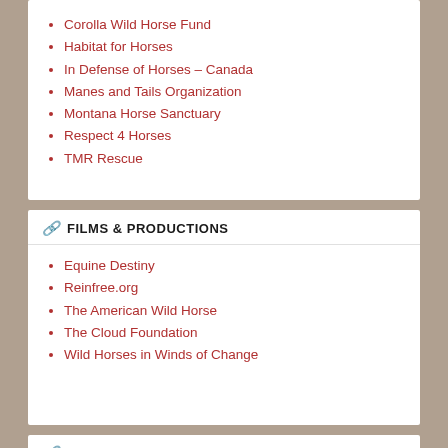Corolla Wild Horse Fund
Habitat for Horses
In Defense of Horses – Canada
Manes and Tails Organization
Montana Horse Sanctuary
Respect 4 Horses
TMR Rescue
FILMS & PRODUCTIONS
Equine Destiny
Reinfree.org
The American Wild Horse
The Cloud Foundation
Wild Horses in Winds of Change
FRIENDS OF HORSES
Fight the BLM